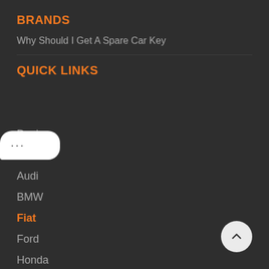BRANDS
Why Should I Get A Spare Car Key
QUICK LINKS
[Figure (other): Tooltip bubble with ellipsis dots]
Dacia
Citroen
Audi
BMW
Fiat
Ford
Honda
Hyundai